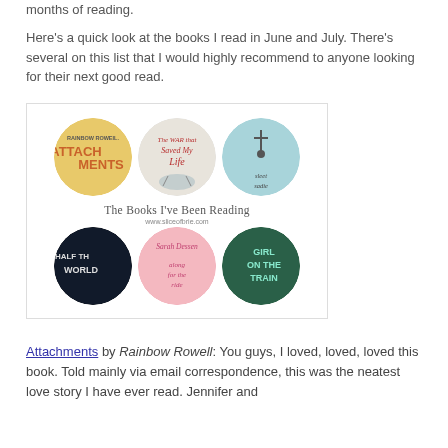months of reading.
Here's a quick look at the books I read in June and July. There's several on this list that I would highly recommend to anyone looking for their next good read.
[Figure (illustration): A collage of six circular book cover images arranged in two rows of three. Top row: 'Attachments' by Rainbow Rowell (yellow/orange), 'The War That Saved My Life' (illustrated), and a teal book with a person doing a handstand. Center text reads 'The Books I've Been Reading www.sliceofbrie.com'. Bottom row: 'Half the World' (dark/fantasy), 'Along for the Ride' by Sarah Dessen (pink), 'Girl on the Train' (green/teal).]
Attachments by Rainbow Rowell: You guys, I loved, loved, loved this book. Told mainly via email correspondence, this was the neatest love story I have ever read. Jennifer and